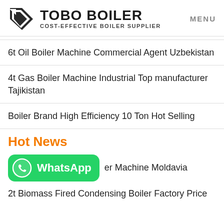TOBO BOILER — COST-EFFECTIVE BOILER SUPPLIER — MENU
6t Oil Boiler Machine Commercial Agent Uzbekistan
4t Gas Boiler Machine Industrial Top manufacturer Tajikistan
Boiler Brand High Efficiency 10 Ton Hot Selling
Hot News
[Figure (logo): WhatsApp button overlay with green background and phone icon]
er Machine Moldavia
2t Biomass Fired Condensing Boiler Factory Price